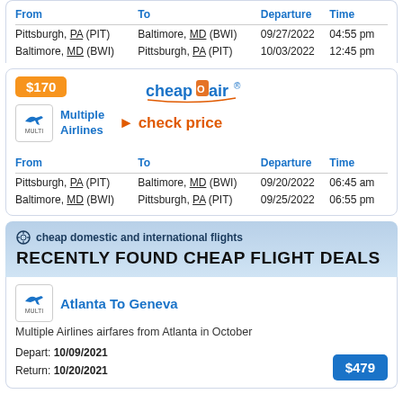| From | To | Departure | Time |
| --- | --- | --- | --- |
| Pittsburgh, PA (PIT) | Baltimore, MD (BWI) | 09/27/2022 | 04:55 pm |
| Baltimore, MD (BWI) | Pittsburgh, PA (PIT) | 10/03/2022 | 12:45 pm |
[Figure (screenshot): CheapOair logo with orange flame icon and underline swoosh]
$170
Multiple Airlines
check price
| From | To | Departure | Time |
| --- | --- | --- | --- |
| Pittsburgh, PA (PIT) | Baltimore, MD (BWI) | 09/20/2022 | 06:45 am |
| Baltimore, MD (BWI) | Pittsburgh, PA (PIT) | 09/25/2022 | 06:55 pm |
cheap domestic and international flights
RECENTLY FOUND CHEAP FLIGHT DEALS
Atlanta To Geneva
Multiple Airlines airfares from Atlanta in October
Depart: 10/09/2021
Return: 10/20/2021
$479